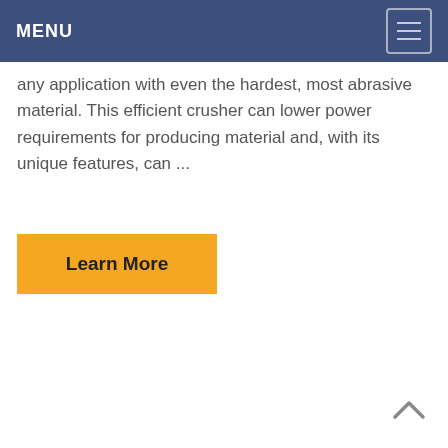MENU
any application with even the hardest, most abrasive material. This efficient crusher can lower power requirements for producing material and, with its unique features, can ...
[Figure (other): Learn More button — yellow/amber rectangular button with bold text 'Learn More']
[Figure (other): Back to top chevron arrow icon in bottom right corner]